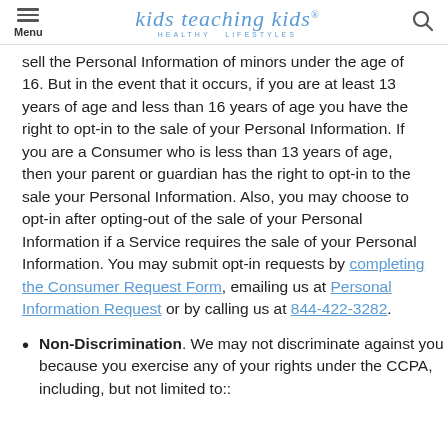Menu | kids teaching kids HEALTHY LIFESTYLES | Search
sell the Personal Information of minors under the age of 16. But in the event that it occurs, if you are at least 13 years of age and less than 16 years of age you have the right to opt-in to the sale of your Personal Information. If you are a Consumer who is less than 13 years of age, then your parent or guardian has the right to opt-in to the sale your Personal Information. Also, you may choose to opt-in after opting-out of the sale of your Personal Information if a Service requires the sale of your Personal Information. You may submit opt-in requests by completing the Consumer Request Form, emailing us at Personal Information Request or by calling us at 844-422-3282.
Non-Discrimination. We may not discriminate against you because you exercise any of your rights under the CCPA, including, but not limited to::